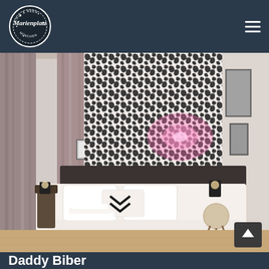Marienplatz Crib & Beer München
[Figure (photo): Hotel room photo showing a double bed with white linens and a black chevron pillow, pink/mauve curtains on the left, a bold black-and-white patterned wallpaper accent wall behind the bed with pink neon light, framed art on the right wall, and bedside lamps on wooden side tables. The room has a modern boutique hotel aesthetic.]
Daddy Biber